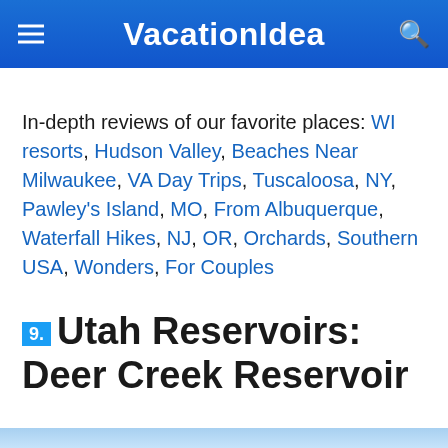VacationIdea
In-depth reviews of our favorite places: WI resorts, Hudson Valley, Beaches Near Milwaukee, VA Day Trips, Tuscaloosa, NY, Pawley's Island, MO, From Albuquerque, Waterfall Hikes, NJ, OR, Orchards, Southern USA, Wonders, For Couples
9. Utah Reservoirs: Deer Creek Reservoir